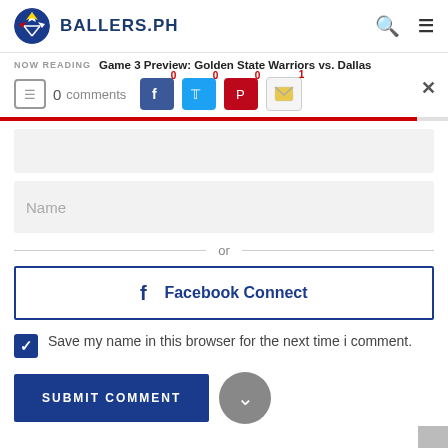BALLERS.PH
NOW READING  Game 3 Preview: Golden State Warriors vs. Dallas
0 comments  0  0  0  1
Name
or
f  Facebook Connect
Save my name in this browser for the next time i comment.
SUBMIT COMMENT